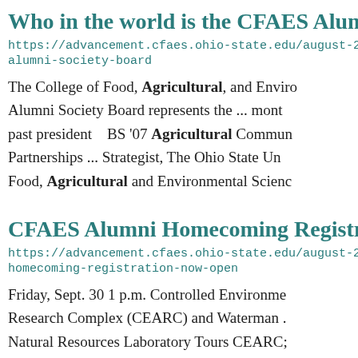Who in the world is the CFAES Alum…
https://advancement.cfaes.ohio-state.edu/august-20… alumni-society-board
The College of Food, Agricultural, and Enviro… Alumni Society Board represents the … mont… past president   BS '07 Agricultural Commun… Partnerships … Strategist, The Ohio State Un… Food, Agricultural and Environmental Scienc…
CFAES Alumni Homecoming Registr…
https://advancement.cfaes.ohio-state.edu/august-20… homecoming-registration-now-open
Friday, Sept. 30 1 p.m. Controlled Environme… Research Complex (CEARC) and Waterman .… Natural Resources Laboratory Tours CEARC;…